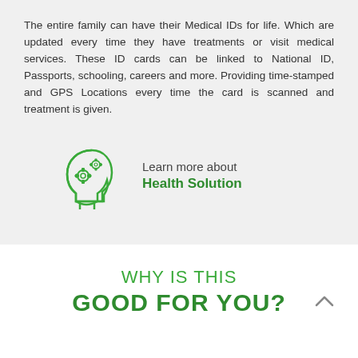The entire family can have their Medical IDs for life. Which are updated every time they have treatments or visit medical services. These ID cards can be linked to National ID, Passports, schooling, careers and more. Providing time-stamped and GPS Locations every time the card is scanned and treatment is given.
[Figure (illustration): Green outline illustration of a human head profile with two gear icons inside, representing a health/thinking concept.]
Learn more about Health Solution
WHY IS THIS GOOD FOR YOU?